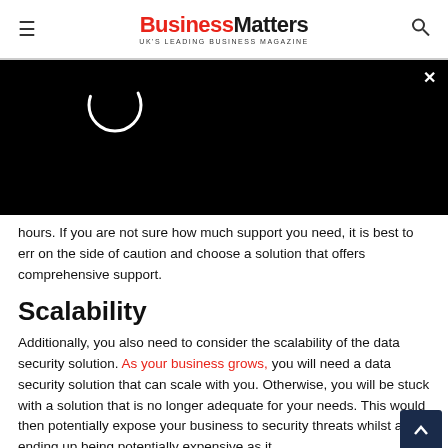Business Matters — UK'S LEADING BUSINESS MAGAZINE
[Figure (screenshot): Black video player overlay with a circular loading spinner and a close (x) button in the top right corner]
hours. If you are not sure how much support you need, it is best to err on the side of caution and choose a solution that offers comprehensive support.
Scalability
Additionally, you also need to consider the scalability of the data security solution. As your business grows, you will need a data security solution that can scale with you. Otherwise, you will be stuck with a solution that is no longer adequate for your needs. This would then potentially expose your business to security threats whilst also ending up being potentially expensive as it